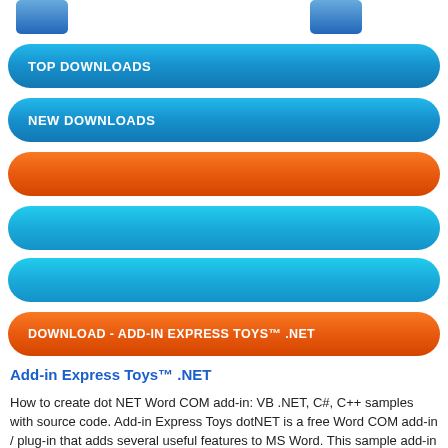[Figure (screenshot): Two blue icon boxes at top of page]
TOP DOWNLOADS
NEW DOWNLOADS
[Figure (other): Orange rounded button bar (no label)]
[Figure (other): Blue rounded button bar (no label)]
[Figure (other): Blue rounded button bar (no label)]
DOWNLOAD - ADD-IN EXPRESS TOYS™ .NET
Add-in Express Toys™ .NET
How to create dot NET Word COM add-in: VB .NET, C#, C++ samples with source code. Add-in Express Toys dotNET is a free Word COM add-in / plug-in that adds several useful features to MS Word. This sample add-in is based on Add-in Express .NET Edition and gives you an example of how to create Microsoft Word COM add-ins, how to manage add-in toolbars and controls, and how to get access to Word objects. Add-in Express Toys .NET for Word supports...